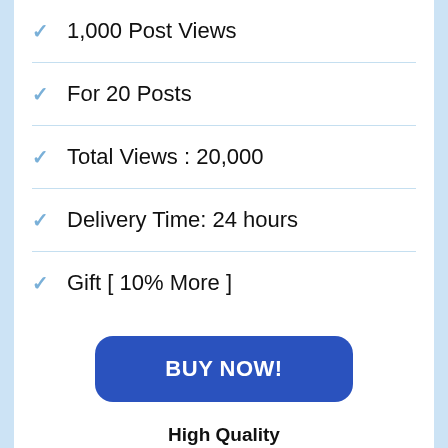1,000 Post Views
For 20 Posts
Total Views : 20,000
Delivery Time: 24 hours
Gift [ 10% More ]
BUY NOW!
High Quality